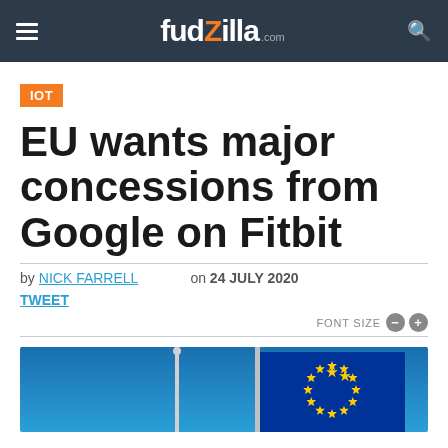fudzilla.com
IOT
EU wants major concessions from Google on Fitbit
by NICK FARRELL  on  24 JULY 2020
TWEET
FONT SIZE - +
[Figure (photo): EU flag waving against a blue sky, with a flagpole visible. Stars on a blue background.]